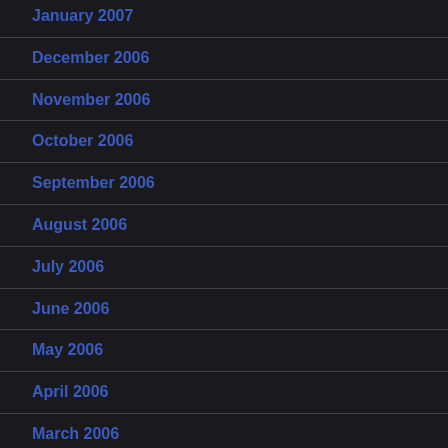January 2007
December 2006
November 2006
October 2006
September 2006
August 2006
July 2006
June 2006
May 2006
April 2006
March 2006